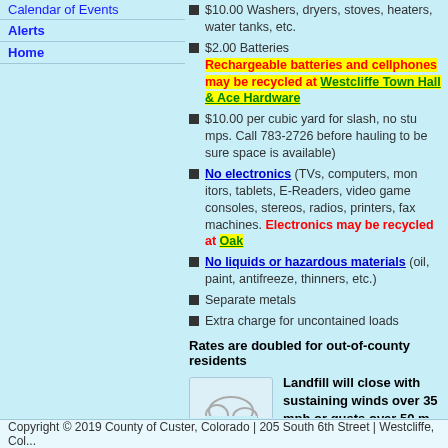Calendar of Events
Alerts
Home
$10.00 Washers, dryers, stoves, heaters, water tanks, etc.
$2.00 Batteries. Rechargeable batteries and cellphones may be recycled at Westcliffe Town Hall or Ace Hardware
$10.00 per cubic yard for slash, no stumps. Call 783-2726 before hauling to be sure space is available)
No electronics (TVs, computers, monitors, tablets, E-Readers, video game consoles, stereos, radios, printers, fax machines. Electronics may be recycled at Oak...
No liquids or hazardous materials (oil, paint, antifreeze, thinners, etc.)
Separate metals
Extra charge for uncontained loads
Rates are doubled for out-of-county residents
[Figure (illustration): Cloud with wind/rain icon]
Landfill will close with sustained winds over 35 mph or gusts over 50 mph expected to persist for one hour or longer
Copyright © 2019 County of Custer, Colorado | 205 South 6th Street | Westcliffe, Co...